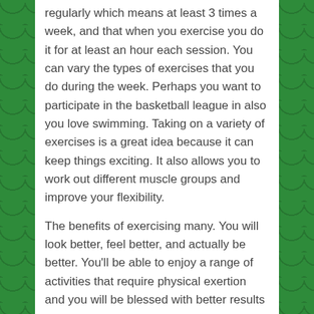regularly which means at least 3 times a week, and that when you exercise you do it for at least an hour each session. You can vary the types of exercises that you do during the week. Perhaps you want to participate in the basketball league in also you love swimming. Taking on a variety of exercises is a great idea because it can keep things exciting. It also allows you to work out different muscle groups and improve your flexibility.
The benefits of exercising many. You will look better, feel better, and actually be better. You’ll be able to enjoy a range of activities that require physical exertion and you will be blessed with better results from your doctor’s visits. For these reasons exercise is definitely and activity that goes into the “do column”.
Don’t Smoke
Although George Anmar has never been a smoker, but like many of us he has seen the negative effects that